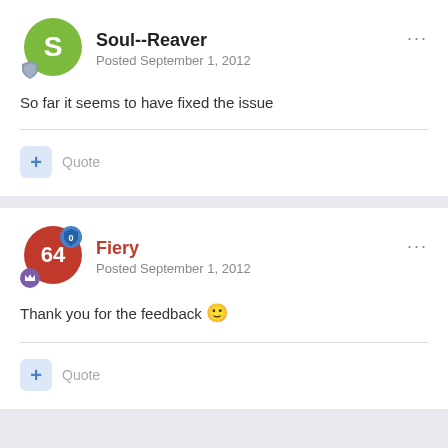Soul--Reaver
Posted September 1, 2012
So far it seems to have fixed the issue
Quote
Fiery
Posted September 1, 2012
Thank you for the feedback 😉
Quote